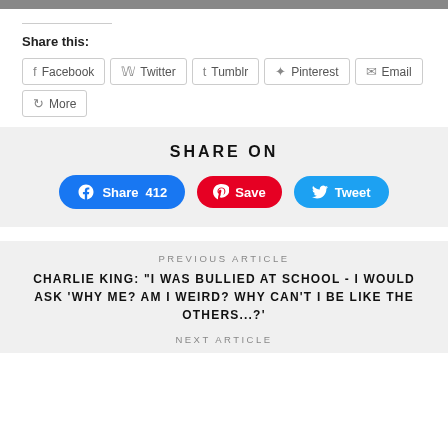[Figure (photo): Partial photo at top of page, cropped]
Share this:
Facebook  Twitter  Tumblr  Pinterest  Email  More
SHARE ON
Share 412  Save  Tweet
PREVIOUS ARTICLE
CHARLIE KING: "I WAS BULLIED AT SCHOOL - I WOULD ASK 'WHY ME? AM I WEIRD? WHY CAN'T I BE LIKE THE OTHERS...?'
NEXT ARTICLE